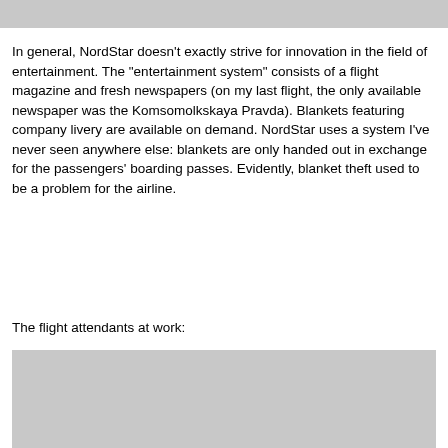[Figure (photo): Top portion of a photo, shown as gray placeholder at top of page]
In general, NordStar doesn't exactly strive for innovation in the field of entertainment. The "entertainment system" consists of a flight magazine and fresh newspapers (on my last flight, the only available newspaper was the Komsomolkskaya Pravda). Blankets featuring company livery are available on demand. NordStar uses a system I've never seen anywhere else: blankets are only handed out in exchange for the passengers' boarding passes. Evidently, blanket theft used to be a problem for the airline.
The flight attendants at work:
[Figure (photo): Photo of flight attendants at work, shown as gray placeholder at bottom of page]